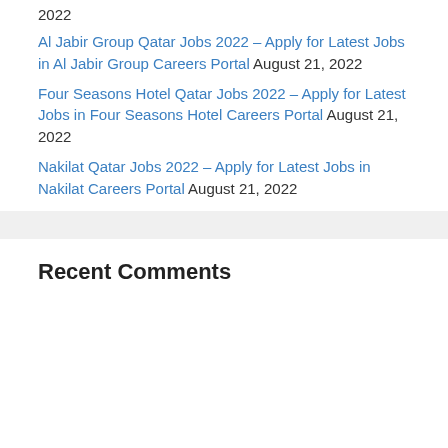2022
Al Jabir Group Qatar Jobs 2022 – Apply for Latest Jobs in Al Jabir Group Careers Portal August 21, 2022
Four Seasons Hotel Qatar Jobs 2022 – Apply for Latest Jobs in Four Seasons Hotel Careers Portal August 21, 2022
Nakilat Qatar Jobs 2022 – Apply for Latest Jobs in Nakilat Careers Portal August 21, 2022
Recent Comments